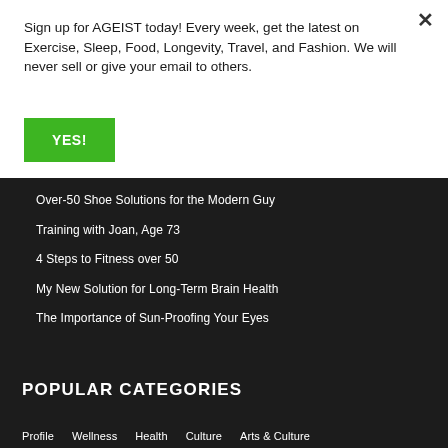Sign up for AGEIST today! Every week, get the latest on Exercise, Sleep, Food, Longevity, Travel, and Fashion. We will never sell or give your email to others.
YES!
Over-50 Shoe Solutions for the Modern Guy
Training with Joan, Age 73
4 Steps to Fitness over 50
My New Solution for Long-Term Brain Health
The Importance of Sun-Proofing Your Eyes
POPULAR CATEGORIES
Profile   Wellness   Health   Culture   Arts & Culture